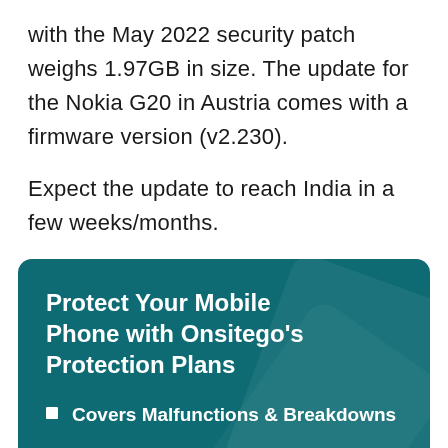with the May 2022 security patch weighs 1.97GB in size. The update for the Nokia G20 in Austria comes with a firmware version (v2.230).
Expect the update to reach India in a few weeks/months.
[Figure (infographic): Teal/dark cyan advertisement card for Onsitego's Protection Plans with title 'Protect Your Mobile Phone with Onsitego's Protection Plans' and two bullet points: 'Covers Malfunctions & Breakdowns' and 'Mobile Repair or Replacement Guarantee', with a yellow button bar partially visible at the bottom.]